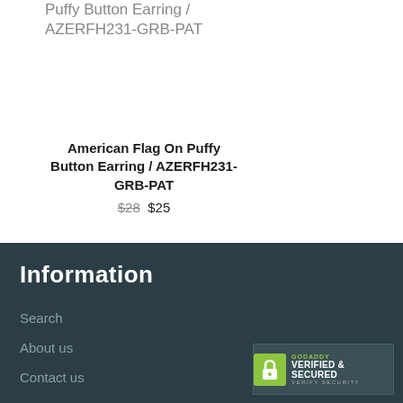Puffy Button Earring / AZERFH231-GRB-PAT
American Flag On Puffy Button Earring / AZERFH231-GRB-PAT
$28 $25
Information
Search
About us
Contact us
[Figure (logo): GoDaddy Verified & Secured badge with lock icon]